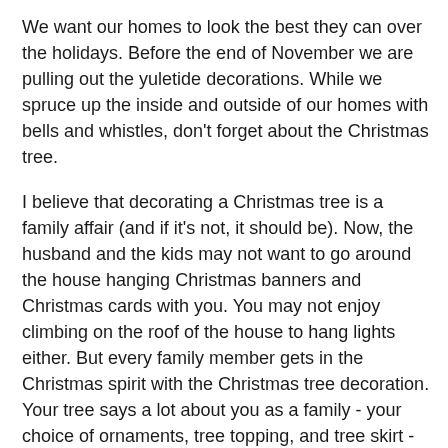We want our homes to look the best they can over the holidays. Before the end of November we are pulling out the yuletide decorations. While we spruce up the inside and outside of our homes with bells and whistles, don't forget about the Christmas tree.
I believe that decorating a Christmas tree is a family affair (and if it's not, it should be). Now, the husband and the kids may not want to go around the house hanging Christmas banners and Christmas cards with you. You may not enjoy climbing on the roof of the house to hang lights either. But every family member gets in the Christmas spirit with the Christmas tree decoration. Your tree says a lot about you as a family - your choice of ornaments, tree topping, and tree skirt - yes, tree skirt, and I'll talk more about these useful items later on.
First choose your tree. Many go for artificial trees because there are no dried pine needles to pierce the bottoms of tender feet or vacuum up, I do too. We've had our big Christmas tree for 20 years and it's still going strong. I consider it an investment in our marriage, but that's a story